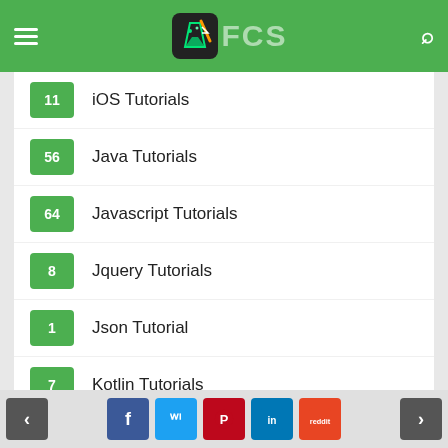FCS - Being Smart Is Great
11 iOS Tutorials
56 Java Tutorials
64 Javascript Tutorials
8 Jquery Tutorials
1 Json Tutorial
7 Kotlin Tutorials
31 Laravel Tutorials
16 Learn English Tutorials
1 Learn French
2 Learn German Language Tutorial
1 Learn Italian
< f t p in reddit >